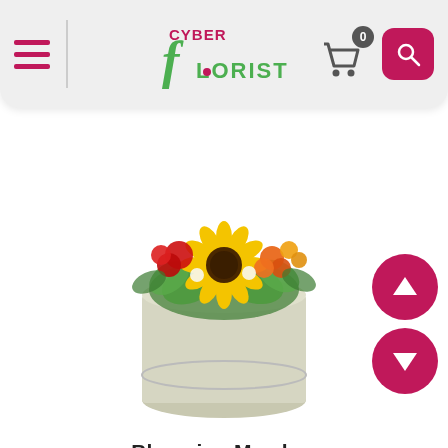[Figure (screenshot): Cyber Florist website header with hamburger menu, logo, shopping cart with badge showing 0, and pink search button]
[Figure (photo): Blooming Meadow flower arrangement: sunflower, red, yellow, and orange flowers in a round white/sage cylindrical box]
Blooming Meadow
From $121.00 US ▶
[Figure (photo): Pink roses bouquet arrangement in a pink vase/pot, partially visible at bottom of page]
[Figure (other): Pink circular up arrow navigation button]
[Figure (other): Pink circular down arrow navigation button]